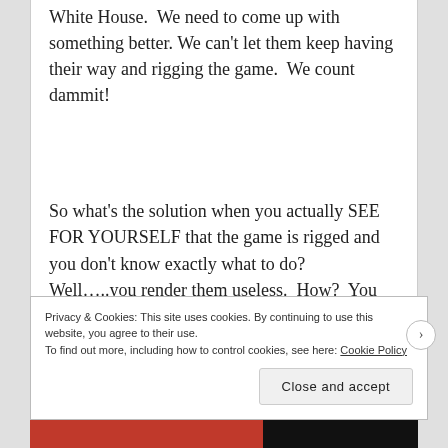White House. We need to come up with something better. We can't let them keep having their way and rigging the game. We count dammit!
So what's the solution when you actually SEE FOR YOURSELF that the game is rigged and you don't know exactly what to do? Well…..you render them useless. How? You turn the tables on them and make sure that they have nothing left except their
Privacy & Cookies: This site uses cookies. By continuing to use this website, you agree to their use.
To find out more, including how to control cookies, see here: Cookie Policy
Close and accept